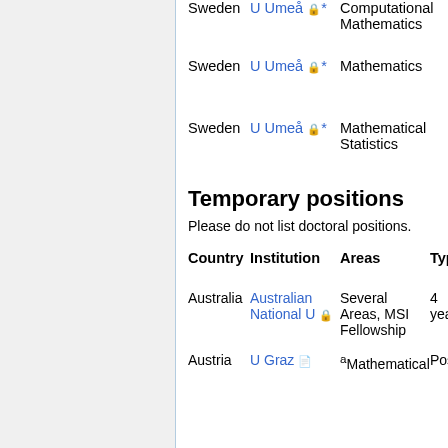Sweden  U Umeå 🔒*  Computational Mathematics
Sweden  U Umeå 🔒*  Mathematics
Sweden  U Umeå 🔒*  Mathematical Statistics
Temporary positions
Please do not list doctoral positions.
| Country | Institution | Areas | Type |
| --- | --- | --- | --- |
| Australia | Australian National U 🔒 | Several Areas, MSI Fellowship | 4 years |
| Austria | U Graz 📄 | *Mathematical | PostDoc |